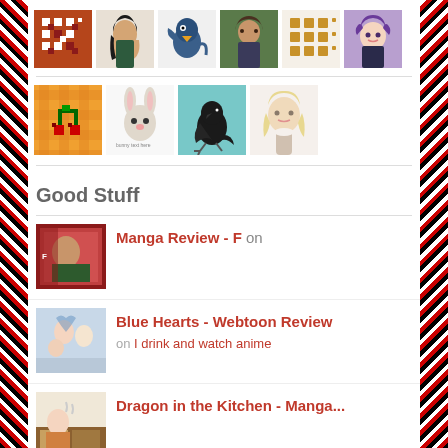[Figure (screenshot): Grid of user avatar thumbnails, two rows. Row 1: geometric cross-stitch pattern (orange/red), woman with dark hair by plant, blue bird cartoon, man outdoors, gold diamond dots pattern, purple anime girl. Row 2: pixel art cherry on orange gingham, rabbit cartoon with text, crow on teal background, blonde anime girl.]
Good Stuff
[Figure (screenshot): Post thumbnail showing manga cover with red and green colors]
Manga Review - F on
[Figure (screenshot): Post thumbnail showing anime-style characters]
Blue Hearts - Webtoon Review
on I drink and watch anime
[Figure (screenshot): Post thumbnail showing manga scene with kitchen/cooking theme]
Dragon in the Kitchen - Manga...